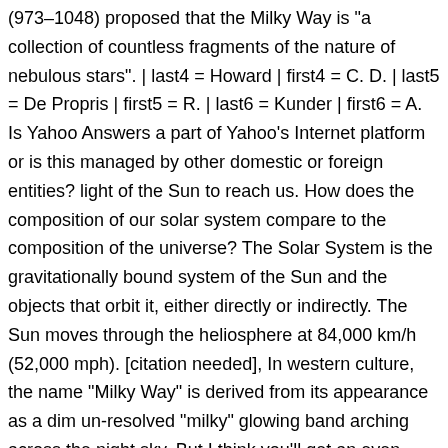(973–1048) proposed that the Milky Way is "a collection of countless fragments of the nature of nebulous stars". | last4 = Howard | first4 = C. D. | last5 = De Propris | first5 = R. | last6 = Kunder | first6 = A. Is Yahoo Answers a part of Yahoo's Internet platform or is this managed by other domestic or foreign entities? light of the Sun to reach us. How does the composition of our solar system compare to the composition of the universe? The Solar System is the gravitationally bound system of the Sun and the objects that orbit it, either directly or indirectly. The Sun moves through the heliosphere at 84,000 km/h (52,000 mph). [citation needed], In western culture, the name "Milky Way" is derived from its appearance as a dim un-resolved "milky" glowing band arching across the night sky. But I think you'll get an even better feeling for the true size of the Solar System if you actually make a visit to your local high school football field and march out the distances for yourself (especially if you bring the kids